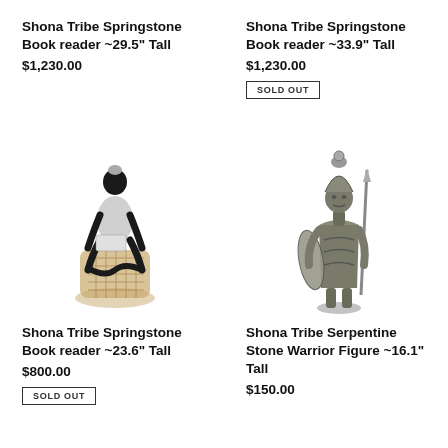Shona Tribe Springstone Book reader ~29.5" Tall
$1,230.00
Shona Tribe Springstone Book reader ~33.9" Tall
$1,230.00
SOLD OUT
[Figure (photo): A black and white springstone sculpture of a seated figure reading a book, perched on a decorative carved pedestal]
Shona Tribe Springstone Book reader ~23.6" Tall
$800.00
SOLD OUT
[Figure (photo): A bronze-toned serpentine stone warrior figure holding a spear and shield, wearing a decorative headdress]
Shona Tribe Serpentine Stone Warrior Figure ~16.1" Tall
$150.00